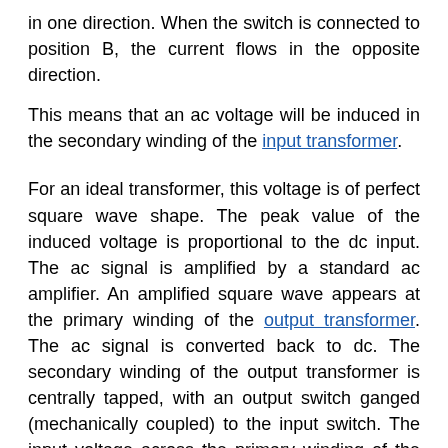in one direction. When the switch is connected to position B, the current flows in the opposite direction.
This means that an ac voltage will be induced in the secondary winding of the input transformer.
For an ideal transformer, this voltage is of perfect square wave shape. The peak value of the induced voltage is proportional to the dc input. The ac signal is amplified by a standard ac amplifier. An amplified square wave appears at the primary winding of the output transformer. The ac signal is converted back to dc. The secondary winding of the output transformer is centrally tapped, with an output switch ganged (mechanically coupled) to the input switch. The input voltage across the primary winding of the output transformer is shown in Fig. 14.28 (a) and the output of the secondary winding is shown in Fig. 14.28(b).